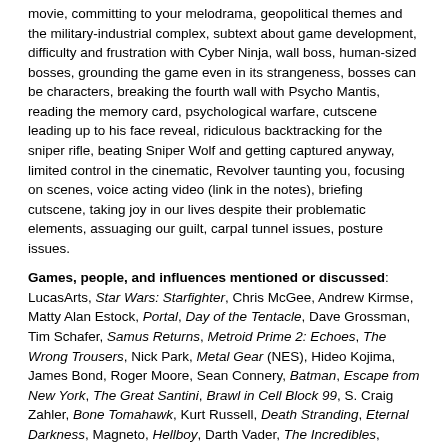movie, committing to your melodrama, geopolitical themes and the military-industrial complex, subtext about game development, difficulty and frustration with Cyber Ninja, wall boss, human-sized bosses, grounding the game even in its strangeness, bosses can be characters, breaking the fourth wall with Psycho Mantis, reading the memory card, psychological warfare, cutscene leading up to his face reveal, ridiculous backtracking for the sniper rifle, beating Sniper Wolf and getting captured anyway, limited control in the cinematic, Revolver taunting you, focusing on scenes, voice acting video (link in the notes), briefing cutscene, taking joy in our lives despite their problematic elements, assuaging our guilt, carpal tunnel issues, posture issues.
Games, people, and influences mentioned or discussed: LucasArts, Star Wars: Starfighter, Chris McGee, Andrew Kirmse, Matty Alan Estock, Portal, Day of the Tentacle, Dave Grossman, Tim Schafer, Samus Returns, Metroid Prime 2: Echoes, The Wrong Trousers, Nick Park, Metal Gear (NES), Hideo Kojima, James Bond, Roger Moore, Sean Connery, Batman, Escape from New York, The Great Santini, Brawl in Cell Block 99, S. Craig Zahler, Bone Tomahawk, Kurt Russell, Death Stranding, Eternal Darkness, Magneto, Hellboy, Darth Vader, The Incredibles, GoldenEye, Mark Garcia, Ben Hanson, Game Informer, Uncharted, The Last of Us, Drew/Tim Homan, Jeremy Blaustein, Silent Hill 2/3, Anachronox, Björn Johansson, Peacewalker, William Rance, Bleemcast/Dreamcast, Aaron Giles, Revengeance, John Yorke, Pro Evolution Soccer, Phil Yorke, Zone of the Enders, Derek Achoy, Super Mario Odyssey, Nels Anderson, Lyndsey Gallant, Tacoma, Mass Effect 2 & 3, Xbox, COBOL, Thief.